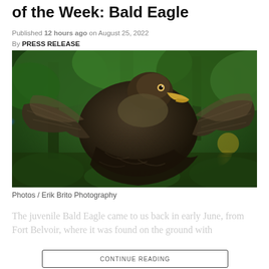of the Week: Bald Eagle
Published 12 hours ago on August 25, 2022
By PRESS RELEASE
[Figure (photo): A juvenile Bald Eagle with wings spread, dark brown plumage, photographed against a green tree backdrop. Photo by Erik Brito Photography.]
Photos / Erik Brito Photography
The juvenile Bald Eagle came to us back in early June, from Fort Belvoir, where it was found on the ground with
CONTINUE READING